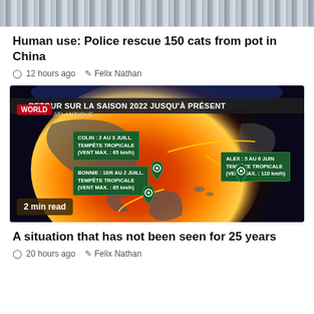[Figure (photo): Top portion of a building with glass facade, cropped strip]
Human use: Police rescue 150 cats from pot in China
12 hours ago   Felix Nathan
[Figure (map): French-language weather map showing 2022 Atlantic hurricane season storms: COLIN 2 AU 3 JUILL. TEMPÊTE TROPICALE (VENT MAX.: 65 km/h), BONNIE: 1ER AU 2 JUILL. TEMPÊTE TROPICALE (VENT MAX.: 85 km/h), ALEX: 5 AU 6 JUIN TEMPÊTE TROPICALE (VENT MAX.: 110 km/h). Globe map with heat overlay. WORLD badge. 2 min read label.]
A situation that has not been seen for 25 years
20 hours ago   Felix Nathan